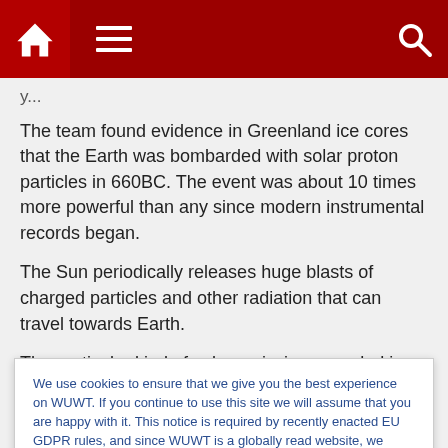Navigation bar with home, menu, and search icons
The team found evidence in Greenland ice cores that the Earth was bombarded with solar proton particles in 660BC. The event was about 10 times more powerful than any since modern instrumental records began.
The Sun periodically releases huge blasts of charged particles and other radiation that can travel towards Earth.
The particular kind of solar emission recorded in the
We use cookies to ensure that we give you the best experience on WUWT. If you continue to use this site we will assume that you are happy with it. This notice is required by recently enacted EU GDPR rules, and since WUWT is a globally read website, we need to keep the bureaucrats off our case! Cookie Policy
Close and accept
And passengers and crew on commercial aircraft that fly